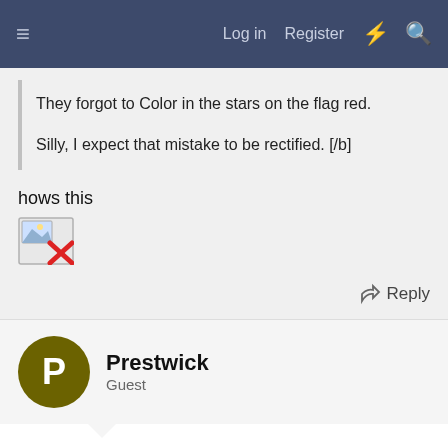≡  Log in  Register  ⚡  🔍
They forgot to Color in the stars on the flag red.

Silly, I expect that mistake to be rectified. [/b]
hows this
[Figure (photo): Broken image icon with red X]
↩ Reply
Prestwick
Guest
Apr 9, 2007  #10
They forgot to Color in the stars on the flag red.
Silly,
[/b]
[Figure (screenshot): Advertisement overlay: Hold and Move game ad with cartoon characters]